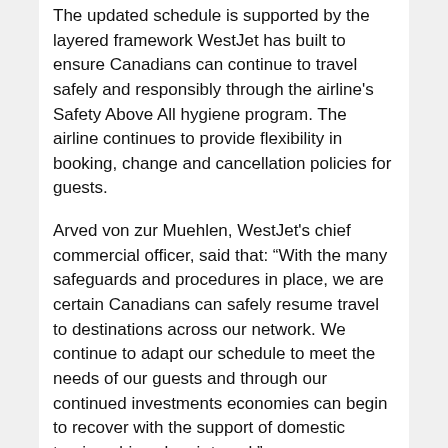The updated schedule is supported by the layered framework WestJet has built to ensure Canadians can continue to travel safely and responsibly through the airline's Safety Above All hygiene program. The airline continues to provide flexibility in booking, change and cancellation policies for guests.
Arved von zur Muehlen, WestJet's chief commercial officer, said that: “With the many safeguards and procedures in place, we are certain Canadians can safely resume travel to destinations across our network. We continue to adapt our schedule to meet the needs of our guests and through our continued investments economies can begin to recover with the support of domestic tourism driven by air travel.”
Between July 15 through to Sept. 4, 2020, WestJet will increase domestic frequencies and offer operations to 48 destinations including 39 in Canada, five in the U.S., two in Europe, one in the Caribbean, one in Mexico.
The airline will reintroduce non-stop Dreamliner service from Calgary to London (Gatwick).